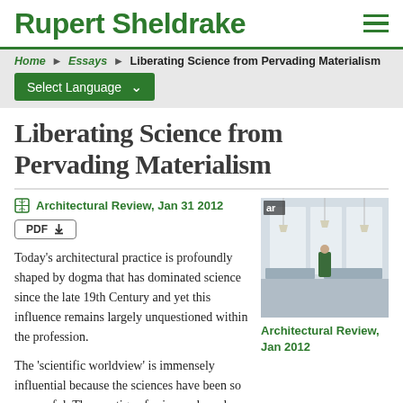Rupert Sheldrake
Home ▶ Essays ▶ Liberating Science from Pervading Materialism
Select Language
Liberating Science from Pervading Materialism
Architectural Review, Jan 31 2012
PDF
[Figure (photo): Cover of Architectural Review magazine, Jan 2012, showing an interior architectural space with hanging lights and a figure.]
Architectural Review, Jan 2012
Today's architectural practice is profoundly shaped by dogma that has dominated science since the late 19th Century and yet this influence remains largely unquestioned within the profession.
The 'scientific worldview' is immensely influential because the sciences have been so successful. The prestige of science shaped Modernism, and still dominates most of its postmodern